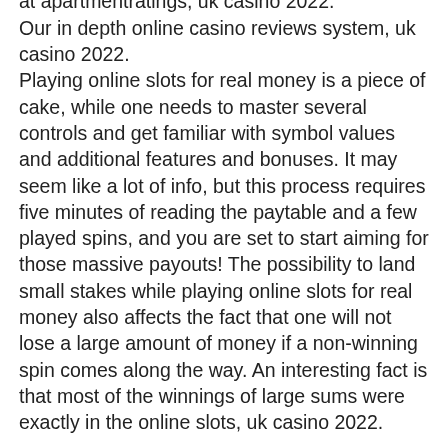apartments for rent. Read and rent apartments at apartmentratings, uk casino 2022. Our in depth online casino reviews system, uk casino 2022. Playing online slots for real money is a piece of cake, while one needs to master several controls and get familiar with symbol values and additional features and bonuses. It may seem like a lot of info, but this process requires five minutes of reading the paytable and a few played spins, and you are set to start aiming for those massive payouts! The possibility to land small stakes while playing online slots for real money also affects the fact that one will not lose a large amount of money if a non-winning spin comes along the way. An interesting fact is that most of the winnings of large sums were exactly in the online slots, uk casino 2022.
Best place to play slots in a casino